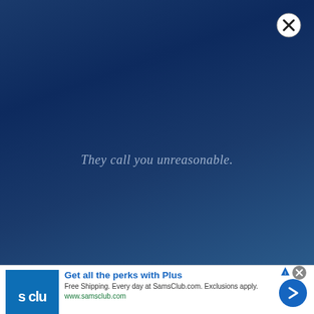[Figure (screenshot): Dark blue gradient background filling the upper portion of the page, representing a web page or app interstitial overlay.]
They call you unreasonable.
[Figure (other): Close button (X) circle in top-right corner of the interstitial overlay.]
[Figure (other): Advertisement bar at bottom: Sam's Club ad with logo, headline 'Get all the perks with Plus', body text, URL, close button, AdChoices icon, and arrow button.]
Get all the perks with Plus
Free Shipping. Every day at SamsClub.com. Exclusions apply.
www.samsclub.com